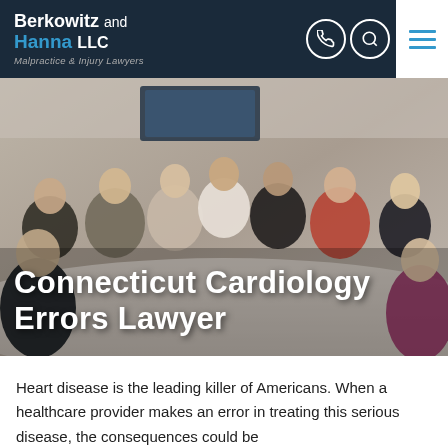Berkowitz and Hanna LLC — Malpractice & Injury Lawyers
[Figure (photo): Conference room photo with multiple people seated around a table, overlaid with the title 'Connecticut Cardiology Errors Lawyer']
Connecticut Cardiology Errors Lawyer
Heart disease is the leading killer of Americans. When a healthcare provider makes an error in treating this serious disease, the consequences could be